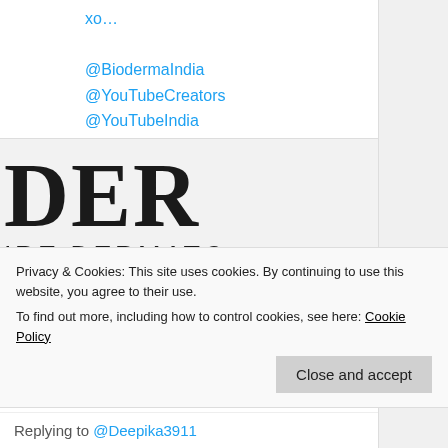@BiodermaIndia @YouTubeCreators @YouTubeIndia @Deepika3911 #shorts
[Figure (screenshot): Cropped Bioderma logo showing letters 'DER' in large serif type and 'IRE DERMATC' subtitle text, partially cut off]
bioderma.naosindia.in
BIODERMA INDIA | Dermatological skin care …
Privacy & Cookies: This site uses cookies. By continuing to use this website, you agree to their use.
To find out more, including how to control cookies, see here: Cookie Policy
Close and accept
Replying to @Deepika3911